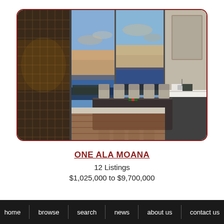[Figure (photo): Interior photo of a luxury dining room with a long dark dining table surrounded by grey chairs, a wine cellar wall on the left with glass display, pendant chandelier lighting, and panoramic floor-to-ceiling windows overlooking an ocean sunset view. White marble kitchen island visible on the right.]
ONE ALA MOANA
12 Listings
$1,025,000 to $9,700,000
home  browse  search  news  about us  contact us